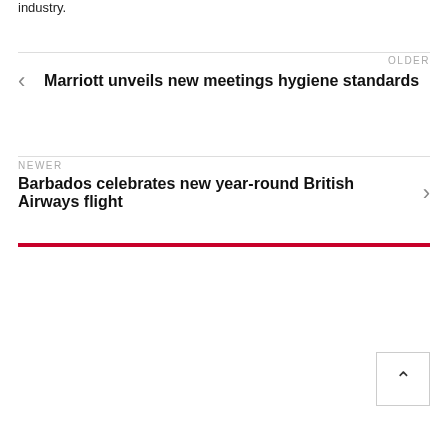industry.
OLDER
Marriott unveils new meetings hygiene standards
NEWER
Barbados celebrates new year-round British Airways flight